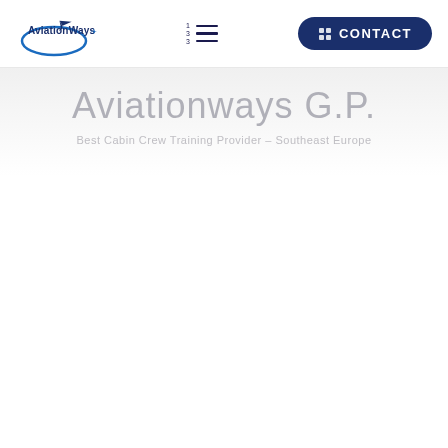[Figure (logo): AviationWays logo with airplane icon and circular swoosh in blue/navy colors]
[Figure (other): Hamburger menu icon with three horizontal lines and numbered labels 1, 3, 3]
[Figure (other): Dark navy rounded rectangle CONTACT button with grid/card icon]
Aviationways G.P.
Best Cabin Crew Training Provider – Southeast Europe